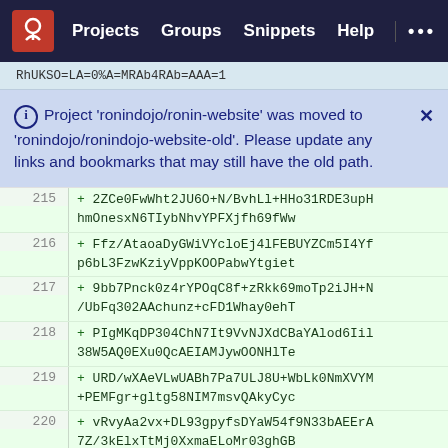Projects  Groups  Snippets  Help  ...
RhUKSO=LA=0%A=MRAb4RAb=AAA=1
Project 'ronindojo/ronin-website' was moved to 'ronindojo/ronindojo-website-old'. Please update any links and bookmarks that may still have the old path.
215  + 2ZCe0FwWht2JU6O+N/BvhLl+HHo31RDE3upHhmOnesxN6TIybNhvYPFXjfh69fWw
216  + Ffz/AtaoaDyGWiVYcloEj4lFEBUYZCm5I4Yfp6bL3FzwKziyVppKOOPabwYtgiet
217  + 9bb7Pnck0z4rYPOqC8f+zRkk69moTp2iJH+N/UbFq302AAchunz+cFD1Whay0ehT
218  + PIgMKqDP304ChN7It9VvNJXdCBaYAlod6Iil38W5AQ0EXu0QcAEIAMJywOONHlTe
219  + URD/wXAeVLwUABh7Pa7ULJ8U+WbLk0NmXVYM+PEMFgr+gltg58NIM7msvQAkyCyc
220  + vRvyAa2vx+DL93gpyfsDYaW54f9N33bAEErA7Z/3kElxTtMj0XxmaELoMr03ghGB
221  + enak++vnp+mmgqEOjlEm9fcSvwrEdu0Hcd7qAcVZfu00/vmwRJ8S6ENF8CS2cqMF
222  + DIXGsFKOKME0BPaEg9ZQjy+hAcCoWemJ1M+Y